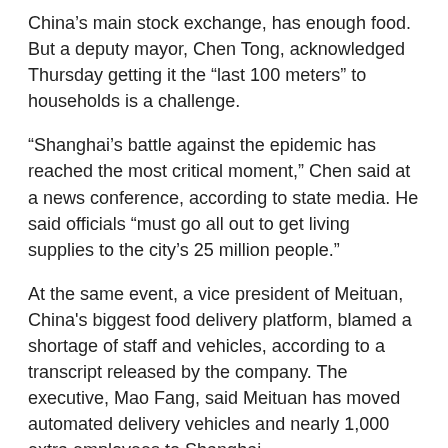China's main stock exchange, has enough food. But a deputy mayor, Chen Tong, acknowledged Thursday getting it the “last 100 meters” to households is a challenge.
“Shanghai’s battle against the epidemic has reached the most critical moment,” Chen said at a news conference, according to state media. He said officials “must go all out to get living supplies to the city’s 25 million people.”
At the same event, a vice president of Meituan, China's biggest food delivery platform, blamed a shortage of staff and vehicles, according to a transcript released by the company. The executive, Mao Fang, said Meituan has moved automated delivery vehicles and nearly 1,000 extra employees to Shanghai.
Another online grocer, Dingdong, said it shifted 500 employees in Shanghai from other posts to making deliveries.